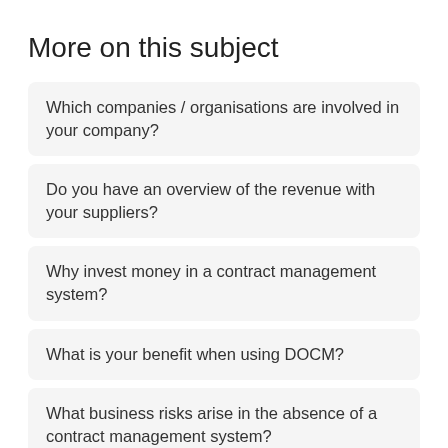More on this subject
Which companies / organisations are involved in your company?
Do you have an overview of the revenue with your suppliers?
Why invest money in a contract management system?
What is your benefit when using DOCM?
What business risks arise in the absence of a contract management system?
What are the requirements for a modern contract management system?